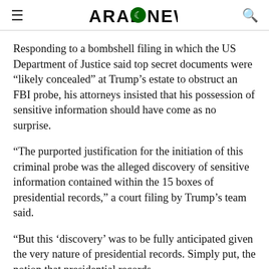ARAB NEWS
Responding to a bombshell filing in which the US Department of Justice said top secret documents were “likely concealed” at Trump’s estate to obstruct an FBI probe, his attorneys insisted that his possession of sensitive information should have come as no surprise.
“The purported justification for the initiation of this criminal probe was the alleged discovery of sensitive information contained within the 15 boxes of presidential records,” a court filing by Trump’s team said.
“But this ‘discovery’ was to be fully anticipated given the very nature of presidential records. Simply put, the notion that presidential records